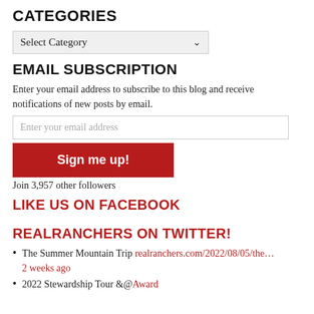CATEGORIES
Select Category
EMAIL SUBSCRIPTION
Enter your email address to subscribe to this blog and receive notifications of new posts by email.
Enter your email address
Sign me up!
Join 3,957 other followers
LIKE US ON FACEBOOK
REALRANCHERS ON TWITTER!
The Summer Mountain Trip realranchers.com/2022/08/05/the… 2 weeks ago
2022 Stewardship Tour &@Award